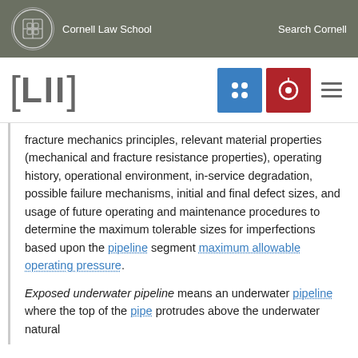Cornell Law School | Search Cornell
[LII]
fracture mechanics principles, relevant material properties (mechanical and fracture resistance properties), operating history, operational environment, in-service degradation, possible failure mechanisms, initial and final defect sizes, and usage of future operating and maintenance procedures to determine the maximum tolerable sizes for imperfections based upon the pipeline segment maximum allowable operating pressure.
Exposed underwater pipeline means an underwater pipeline where the top of the pipe protrudes above the underwater natural